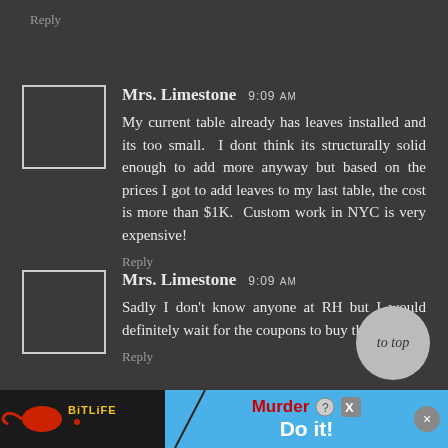Reply
Mrs. Limestone 9:09 AM
My current table already has leaves installed and its too small. I dont think its structurally solid enough to add more anyway but based on the prices I got to add leaves to my last table, the cost is more than $1K. Custom work in NYC is very expensive!
Reply
Mrs. Limestone 9:09 AM
Sadly I don't know anyone at RH but I would definitely wait for the coupons to buy this.
Reply
[Figure (screenshot): BitLife and Murder Do it! advertisement banner at the bottom of the page]
to top